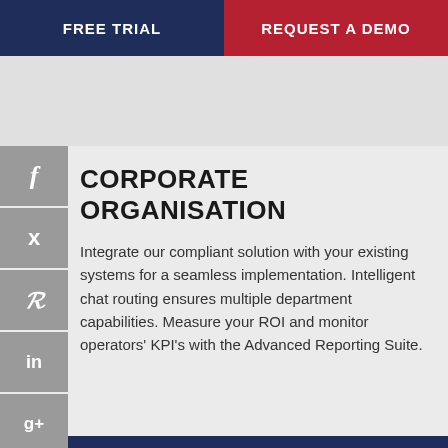FREE TRIAL | REQUEST A DEMO
CORPORATE ORGANISATION
Integrate our compliant solution with your existing systems for a seamless implementation. Intelligent chat routing ensures multiple department capabilities. Measure your ROI and monitor operators' KPI's with the Advanced Reporting Suite.
[Figure (infographic): Social media sidebar icons: Facebook, Twitter, Pinterest, LinkedIn, Google+]
We use cookies ensuring best experience on our website. By viewing our site you are agreeing to our privacy policy. Close.